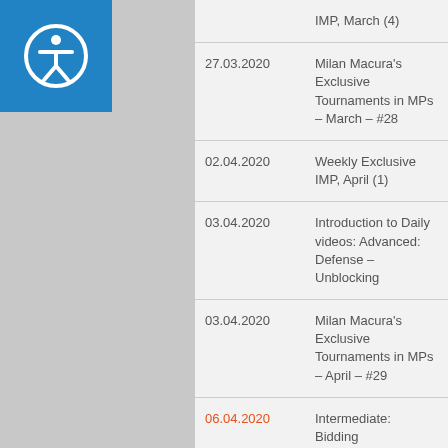[Figure (logo): Blue square with white accessibility icon (person in circle)]
| Date | Title | Page |
| --- | --- | --- |
|  | IMP, March (4) |  |
| 27.03.2020 | Milan Macura's Exclusive Tournaments in MPs – March – #28 | 23 |
| 02.04.2020 | Weekly Exclusive IMP, April (1) | 24 |
| 03.04.2020 | Introduction to Daily videos: Advanced: Defense – Unblocking | 25 |
| 03.04.2020 | Milan Macura's Exclusive Tournaments in MPs – April – #29 | 26 |
| 06.04.2020 | Intermediate: Bidding | 27 |